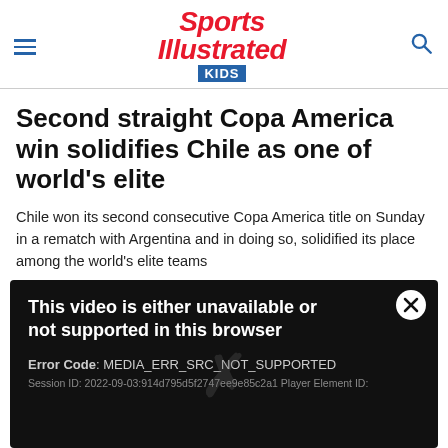Sports Illustrated Kids
Second straight Copa America win solidifies Chile as one of world's elite
Chile won its second consecutive Copa America title on Sunday in a rematch with Argentina and in doing so, solidified its place among the world's elite teams
ALEXANDER ABNOS • JUN 27, 2016
[Figure (infographic): Social sharing icons: Facebook (f), Twitter bird, Pinterest (P) in blue, cyan, and red respectively]
[Figure (screenshot): Dark video error panel reading: 'This video is either unavailable or not supported in this browser' with Error Code: MEDIA_ERR_SRC_NOT_SUPPORTED and session ID text, with close X button in top right corner]